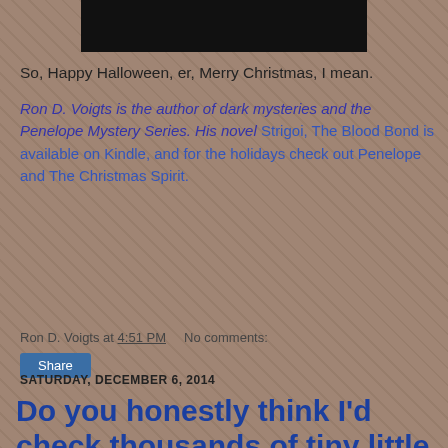[Figure (photo): Background image of tools and objects on a table, with a redacted black bar at the top]
So, Happy Halloween, er, Merry Christmas, I mean.
Ron D. Voigts is the author of dark mysteries and the Penelope Mystery Series. His novel Strigoi, The Blood Bond is available on Kindle, and for the holidays check out Penelope and The Christmas Spirit.
Ron D. Voigts at 4:51 PM   No comments:
Share
SATURDAY, DECEMBER 6, 2014
Do you honestly think I'd check thousands of tiny little lights if I wasn't sure the extension cord was plugged in?